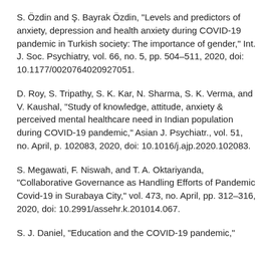S. Özdin and Ş. Bayrak Özdin, "Levels and predictors of anxiety, depression and health anxiety during COVID-19 pandemic in Turkish society: The importance of gender," Int. J. Soc. Psychiatry, vol. 66, no. 5, pp. 504–511, 2020, doi: 10.1177/0020764020927051.
D. Roy, S. Tripathy, S. K. Kar, N. Sharma, S. K. Verma, and V. Kaushal, "Study of knowledge, attitude, anxiety & perceived mental healthcare need in Indian population during COVID-19 pandemic," Asian J. Psychiatr., vol. 51, no. April, p. 102083, 2020, doi: 10.1016/j.ajp.2020.102083.
S. Megawati, F. Niswah, and T. A. Oktariyanda, "Collaborative Governance as Handling Efforts of Pandemic Covid-19 in Surabaya City," vol. 473, no. April, pp. 312–316, 2020, doi: 10.2991/assehr.k.201014.067.
S. J. Daniel, "Education and the COVID-19 pandemic,"